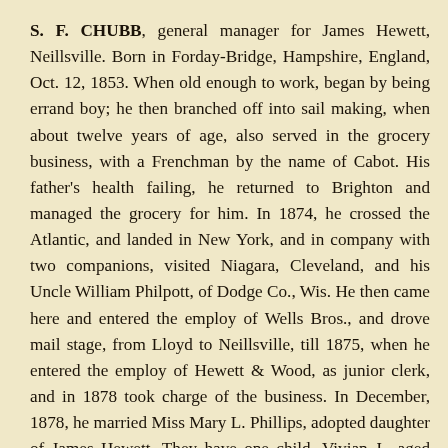S. F. CHUBB, general manager for James Hewett, Neillsville. Born in Forday-Bridge, Hampshire, England, Oct. 12, 1853. When old enough to work, began by being errand boy; he then branched off into sail making, when about twelve years of age, also served in the grocery business, with a Frenchman by the name of Cabot. His father's health failing, he returned to Brighton and managed the grocery for him. In 1874, he crossed the Atlantic, and landed in New York, and in company with two companions, visited Niagara, Cleveland, and his Uncle William Philpott, of Dodge Co., Wis. He then came here and entered the employ of Wells Bros., and drove mail stage, from Lloyd to Neillsville, till 1875, when he entered the employ of Hewett & Wood, as junior clerk, and in 1878 took charge of the business. In December, 1878, he married Miss Mary L. Phillips, adopted daughter of James Hewett. They have one child, Vivian J., aged fourteen months. Mr. C. belongs to I. O. O. F., also the